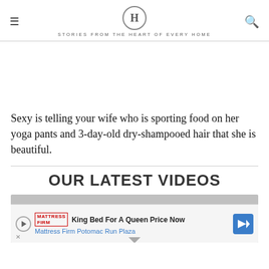H — STORIES FROM THE HEART OF EVERY HOME
Sexy is telling your wife who is sporting food on her yoga pants and 3-day-old dry-shampooed hair that she is beautiful.
OUR LATEST VIDEOS
[Figure (screenshot): Video thumbnail area with Mattress Firm advertisement overlay: 'King Bed For A Queen Price Now – Mattress Firm Potomac Run Plaza']